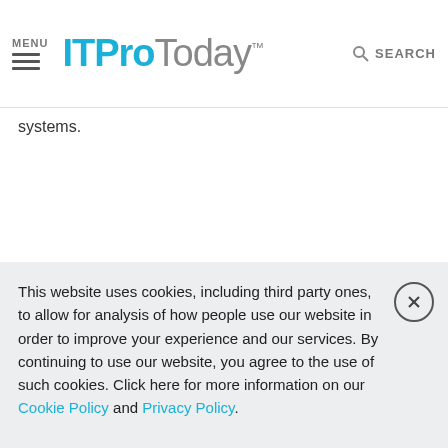MENU | ITProToday™ | SEARCH
systems.
ECENT
This website uses cookies, including third party ones, to allow for analysis of how people use our website in order to improve your experience and our services. By continuing to use our website, you agree to the use of such cookies. Click here for more information on our Cookie Policy and Privacy Policy.